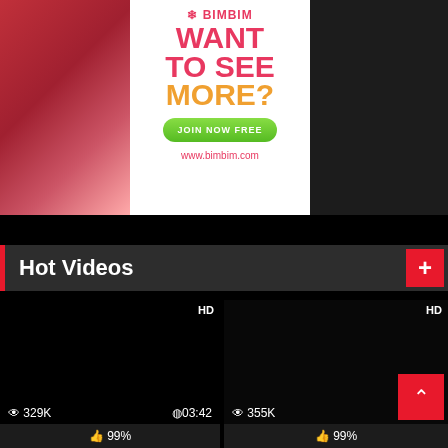[Figure (photo): Advertisement banner for bimbim.com showing a blonde woman in pink, with text WANT TO SEE MORE? and a green JOIN NOW FREE button]
Hot Videos
[Figure (screenshot): Video thumbnails showing two dark video previews with HD badges, view counts 329K and 355K, durations 03:42 and 03:41, both with 99% rating bars]